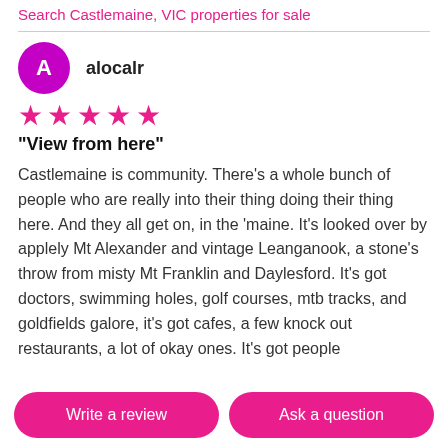Search Castlemaine, VIC properties for sale
alocalr
[Figure (other): 5 pink stars rating]
"View from here"
Castlemaine is community. There's a whole bunch of people who are really into their thing doing their thing here. And they all get on, in the 'maine. It's looked over by applely Mt Alexander and vintage Leanganook, a stone's throw from misty Mt Franklin and Daylesford. It's got doctors, swimming holes, golf courses, mtb tracks, and goldfields galore, it's got cafes, a few knock out restaurants, a lot of okay ones. It's got people
Write a review | Ask a question